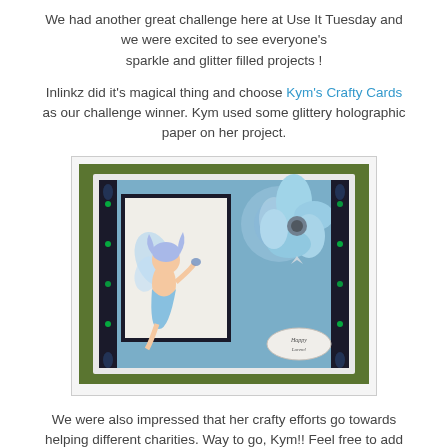We had another great challenge here at Use It Tuesday and we were excited to see everyone's sparkle and glitter filled projects !
Inlinkz did it's magical thing and choose Kym's Crafty Cards as our challenge winner. Kym used some glittery holographic paper on her project.
[Figure (photo): A handmade greeting card featuring a blue fairy illustration on holographic/glittery paper with a large blue flower embellishment and a charm, placed on a green grass background.]
We were also impressed that her crafty efforts go towards helping different charities. Way to go, Kym!! Feel free to add this badge to your blog and we hope you'll be back with us soon for your Guest Designer spot.